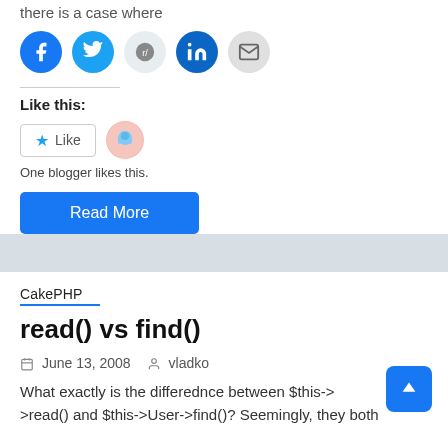there is a case where
[Figure (other): Social sharing icons: Facebook, Twitter, Reddit, LinkedIn, Email]
Like this:
[Figure (other): Like button with star icon and blogger avatar. One blogger likes this.]
One blogger likes this.
Read More
CakePHP
read() vs find()
June 13, 2008   vladko
What exactly is the differednce between $this->User->read() and $this->User->find()? Seemingly, they both